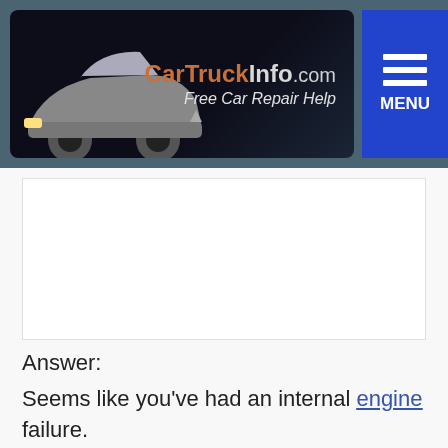[Figure (logo): CarTruckInfo.com website header with car logo, orange and grey text, tagline 'Free Car Repair Help', dark teal background, and blue MENU button]
[Figure (other): Advertisement placeholder / white space area]
Answer:
Seems like you've had an internal engine failure.
cylinders have a problem. Probably a complete engine